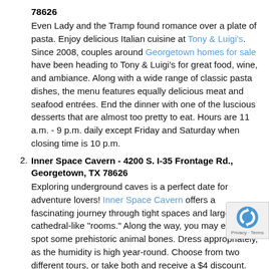78626
Even Lady and the Tramp found romance over a plate of pasta. Enjoy delicious Italian cuisine at Tony & Luigi's. Since 2008, couples around Georgetown homes for sale have been heading to Tony & Luigi's for great food, wine, and ambiance. Along with a wide range of classic pasta dishes, the menu features equally delicious meat and seafood entrées. End the dinner with one of the luscious desserts that are almost too pretty to eat. Hours are 11 a.m. - 9 p.m. daily except Friday and Saturday when closing time is 10 p.m.
Inner Space Cavern - 4200 S. I-35 Frontage Rd., Georgetown, TX 78626
Exploring underground caves is a perfect date for adventure lovers! Inner Space Cavern offers a fascinating journey through tight spaces and large, cathedral-like "rooms." Along the way, you may even spot some prehistoric animal bones. Dress appropriately, as the humidity is high year-round. Choose from two different tours, or take both and receive a $4 discount. Inner Space Cavern is open seven days a week. Visit the website to purchase tickets.
Bent Oak Winery - 2000 Windy Terrace, Bldg. 2-B, Cedar